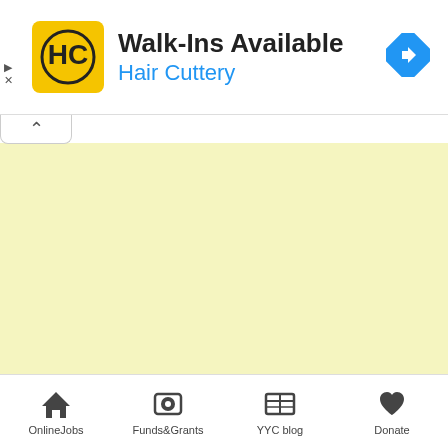[Figure (screenshot): Advertisement banner for Hair Cuttery showing Walk-Ins Available text, HC logo in yellow square, and blue navigation diamond icon]
[Figure (map): Light yellow map area with collapse tab button in top left corner]
OnlineJobs  Funds&Grants  YYC blog  Donate